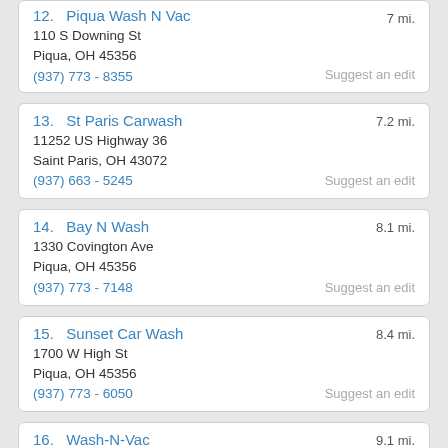12. Piqua Wash N Vac
110 S Downing St
Piqua, OH 45356
(937) 773 - 8355
7 mi.
Suggest an edit
13. St Paris Carwash
11252 US Highway 36
Saint Paris, OH 43072
(937) 663 - 5245
7.2 mi.
Suggest an edit
14. Bay N Wash
1330 Covington Ave
Piqua, OH 45356
(937) 773 - 7148
8.1 mi.
Suggest an edit
15. Sunset Car Wash
1700 W High St
Piqua, OH 45356
(937) 773 - 6050
8.4 mi.
Suggest an edit
16. Wash-N-Vac
809 S Market St
Troy, OH 45373
(937) 339 - 3111
9.1 mi.
Suggest an edit
17. Xpress Car Wash
10 N Kings Chapel Dr
9.2 mi.